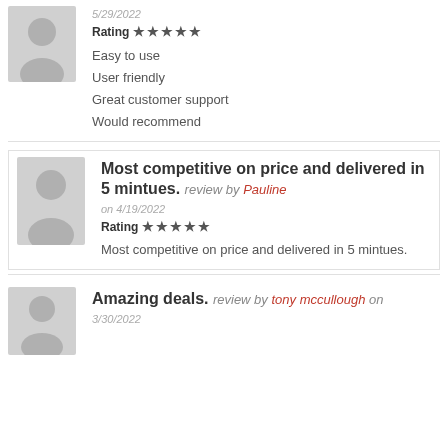5/29/2022
Rating ★★★★★
Easy to use
User friendly
Great customer support
Would recommend
Most competitive on price and delivered in 5 mintues. review by Pauline on 4/19/2022
Rating ★★★★★
Most competitive on price and delivered in 5 mintues.
Amazing deals. review by tony mccullough on 3/30/2022